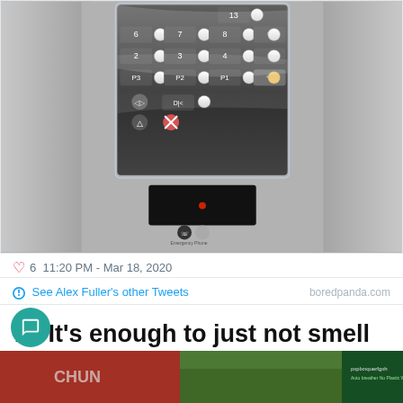[Figure (photo): Photo of an elevator button panel covered in clear plastic wrap/film. The panel shows numbered floor buttons (2, 3, 4, 5, 6, 7, 8, 9, 13, P1, P2, P3) and other control buttons, all covered with transparent plastic. Below the panel is a black card reader/sensor with a red light. The elevator interior walls are metallic stainless steel.]
6  11:20 PM - Mar 18, 2020
See Alex Fuller's other Tweets    boredpanda.com
#8 It's enough to just not smell it.
[Figure (photo): Partially visible bottom strip of another image showing colorful signage/text in red and green tones.]